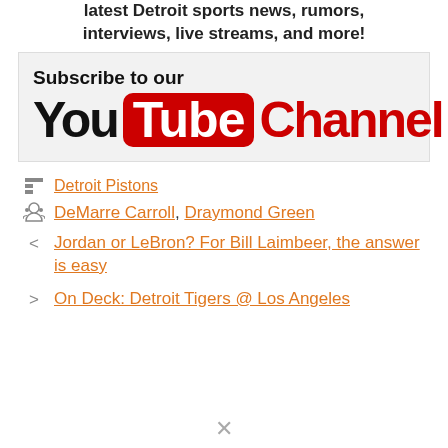latest Detroit sports news, rumors, interviews, live streams, and more!
[Figure (logo): Subscribe to our YouTube Channel banner with YouTube logo on grey background]
Detroit Pistons (category link)
DeMarre Carroll, Draymond Green (tag links)
< Jordan or LeBron? For Bill Laimbeer, the answer is easy (previous post link)
> On Deck: Detroit Tigers @ Los Angeles (next post link)